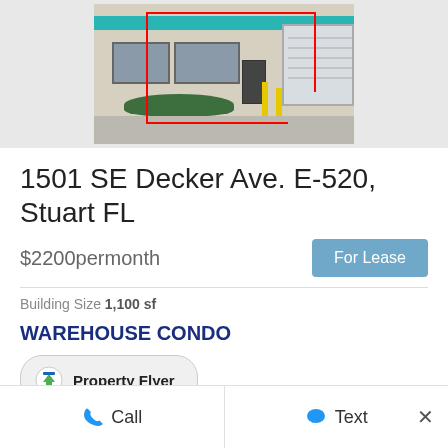[Figure (photo): Exterior photo of a commercial warehouse condo building with teal stripe, windows, garage door, yellow bollards, and a red rectangle overlay marking unit E-520.]
1501 SE Decker Ave. E-520, Stuart FL
$2200permonth
For Lease
Building Size 1,100 sf
WAREHOUSE CONDO
Property Flyer
Call   Text   ×